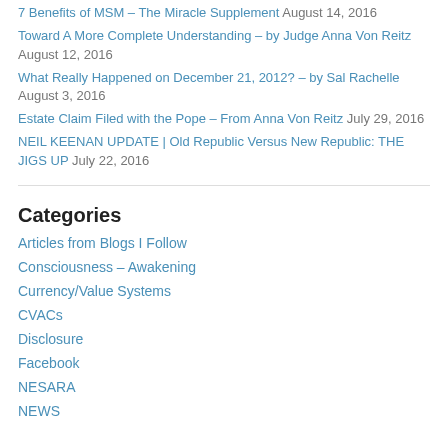7 Benefits of MSM – The Miracle Supplement August 14, 2016
Toward A More Complete Understanding – by Judge Anna Von Reitz August 12, 2016
What Really Happened on December 21, 2012? – by Sal Rachelle August 3, 2016
Estate Claim Filed with the Pope – From Anna Von Reitz July 29, 2016
NEIL KEENAN UPDATE | Old Republic Versus New Republic: THE JIGS UP July 22, 2016
Categories
Articles from Blogs I Follow
Consciousness – Awakening
Currency/Value Systems
CVACs
Disclosure
Facebook
NESARA
NEWS